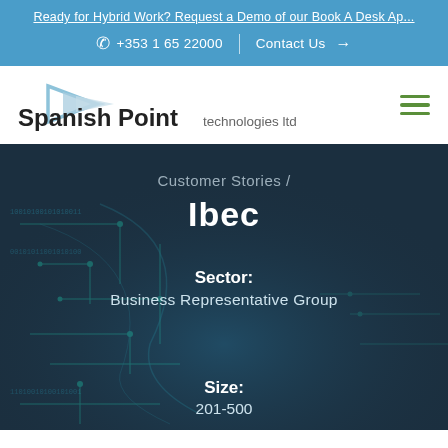Ready for Hybrid Work? Request a Demo of our Book A Desk Ap...
+353 1 65 22000  |  Contact Us →
[Figure (logo): Spanish Point technologies ltd logo with triangular arrow graphic in blue/grey tones]
Customer Stories /
Ibec
Sector:
Business Representative Group
Size:
201-500